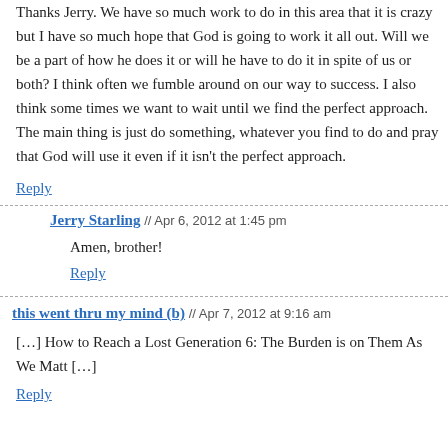Thanks Jerry. We have so much work to do in this area that it is crazy but I have so much hope that God is going to work it all out. Will we be a part of how he does it or will he have to do it in spite of us or both? I think often we fumble around on our way to success. I also think some times we want to wait until we find the perfect approach. The main thing is just do something, whatever you find to do and pray that God will use it even if it isn't the perfect approach.
Reply
Jerry Starling // Apr 6, 2012 at 1:45 pm
Amen, brother!
Reply
this went thru my mind (b) // Apr 7, 2012 at 9:16 am
[…] How to Reach a Lost Generation 6: The Burden is on Them As We Matt […]
Reply